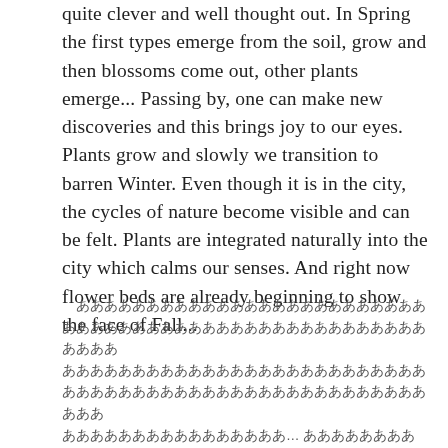quite clever and well thought out. In Spring the first types emerge from the soil, grow and then blossoms come out, other plants emerge... Passing by, one can make new discoveries and this brings joy to our eyes. Plants grow and slowly we transition to barren Winter. Even though it is in the city, the cycles of nature become visible and can be felt. Plants are integrated naturally into the city which calms our senses. And right now flower beds are already beginning to show the face of Fall...
[Japanese text paragraph]